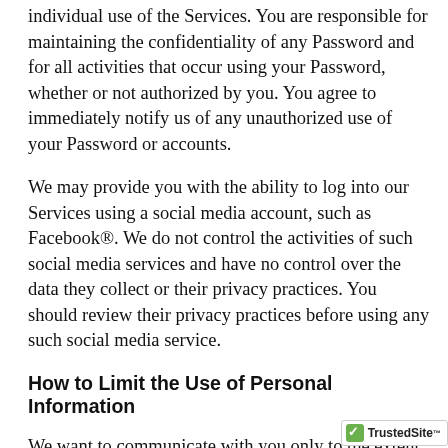individual use of the Services. You are responsible for maintaining the confidentiality of any Password and for all activities that occur using your Password, whether or not authorized by you. You agree to immediately notify us of any unauthorized use of your Password or accounts.
We may provide you with the ability to log into our Services using a social media account, such as Facebook®. We do not control the activities of such social media services and have no control over the data they collect or their privacy practices. You should review their privacy practices before using any such social media service.
How to Limit the Use of Personal Information
We want to communicate with you only to the extent you want to hear from us. If you prefer not to have personal information collected from you via the Services your preferences concerning promotional